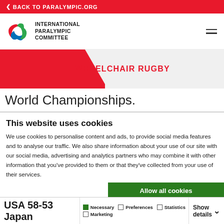< BACK TO PARALYMPIC.ORG
[Figure (logo): International Paralympic Committee logo with agitos symbol and text INTERNATIONAL PARALYMPIC COMMITTEE]
WHEELCHAIR RUGBY
World Championships.
This website uses cookies
We use cookies to personalise content and ads, to provide social media features and to analyse our traffic. We also share information about your use of our site with our social media, advertising and analytics partners who may combine it with other information that you've provided to them or that they've collected from your use of their services.
Allow all cookies
Allow selection
Use necessary cookies only
USA 58-53 Japan
Necessary  Preferences  Statistics  Marketing  Show details